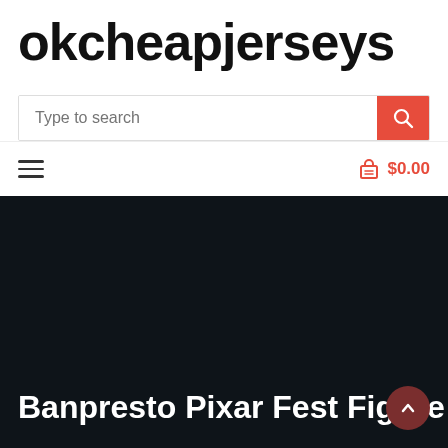okcheapjerseys
[Figure (screenshot): Search bar with placeholder text 'Type to search' and a red search button with magnifying glass icon]
[Figure (infographic): Navigation bar with hamburger menu icon on left and red cart icon with '$0.00' on right]
Banpresto Pixar Fest Figure